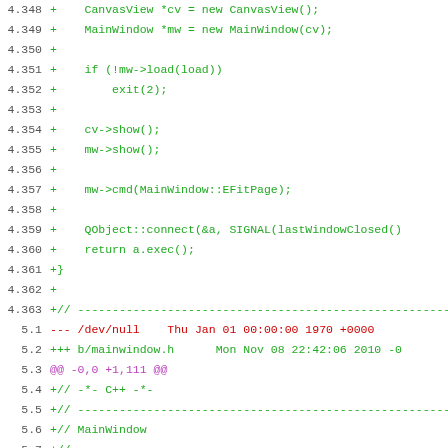[Figure (screenshot): Code diff view showing lines 4.348 through 5.16 of a source file. Lines 4.348-4.363 show green additions with C++ code. Lines 5.1 onward show a new file header diff for b/mainwindow.h with red/green diff markers and purple hunk header.]